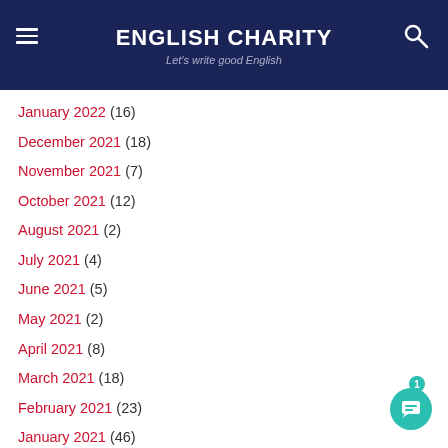ENGLISH CHARITY
Let's write good English
January 2022 (16)
December 2021 (18)
November 2021 (7)
October 2021 (12)
August 2021 (2)
July 2021 (4)
June 2021 (5)
May 2021 (2)
April 2021 (8)
March 2021 (18)
February 2021 (23)
January 2021 (46)
December 2020 (1)